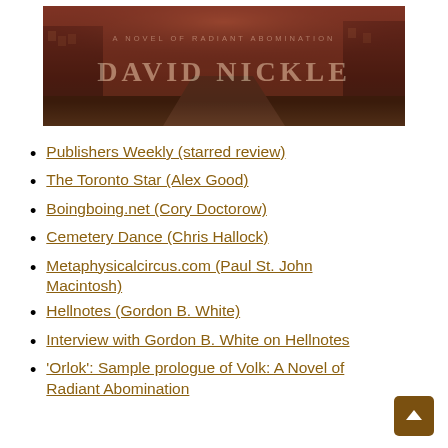[Figure (illustration): Book cover image for 'Volk: A Novel of Radiant Abomination' by David Nickle. Dark sepia-toned image of an alley or street with buildings, with author name in large serif font and subtitle text above.]
Publishers Weekly (starred review)
The Toronto Star (Alex Good)
Boingboing.net (Cory Doctorow)
Cemetery Dance (Chris Hallock)
Metaphysicalcircus.com (Paul St. John Macintosh)
Hellnotes (Gordon B. White)
Interview with Gordon B. White on Hellnotes
'Orlok': Sample prologue of Volk: A Novel of Radiant Abomination